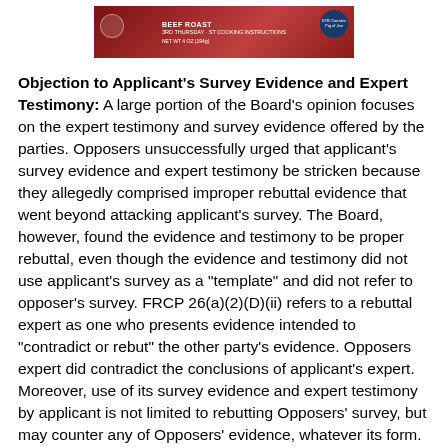[Figure (photo): Product package image - appears to be a food product with red/dark packaging, small circular badge on right side and circular emblem on left]
Objection to Applicant's Survey Evidence and Expert Testimony: A large portion of the Board's opinion focuses on the expert testimony and survey evidence offered by the parties. Opposers unsuccessfully urged that applicant's survey evidence and expert testimony be stricken because they allegedly comprised improper rebuttal evidence that went beyond attacking applicant's survey. The Board, however, found the evidence and testimony to be proper rebuttal, even though the evidence and testimony did not use applicant's survey as a "template" and did not refer to opposer's survey. FRCP 26(a)(2)(D)(ii) refers to a rebuttal expert as one who presents evidence intended to "contradict or rebut" the other party's evidence. Opposers expert did contradict the conclusions of applicant's expert. Moreover, use of its survey evidence and expert testimony by applicant is not limited to rebutting Opposers' survey, but may counter any of Opposers' evidence, whatever its form.
Fame: Opposers failed in their attempt to prove the mark